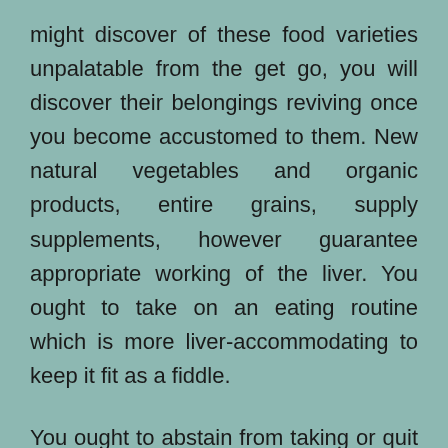might discover of these food varieties unpalatable from the get go, you will discover their belongings reviving once you become accustomed to them. New natural vegetables and organic products, entire grains, supply supplements, however guarantee appropriate working of the liver. You ought to take on an eating routine which is more liver-accommodating to keep it fit as a fiddle.
You ought to abstain from taking or quit taking liquor in the event that you stand a high danger of fostering the liver condition. Liquor can deteriorate the state of your liver and make